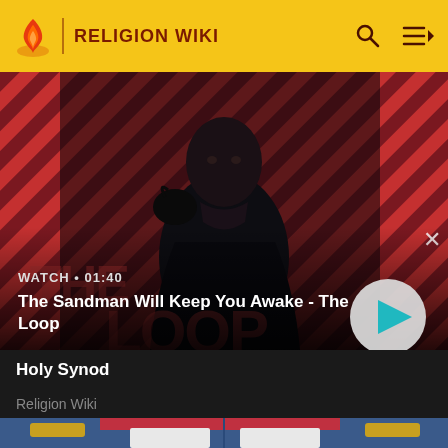RELIGION WIKI
[Figure (screenshot): Video thumbnail showing a dark-robed figure with a raven on shoulder against a red diagonal striped background. Text overlay reads: WATCH • 01:40 / The Sandman Will Keep You Awake - The Loop. A circular play button is visible on the right.]
WATCH • 01:40
The Sandman Will Keep You Awake - The Loop
Holy Synod
Religion Wiki
[Figure (illustration): Partial illustration of an animated character in a blue military uniform with red cap and gold epaulettes.]